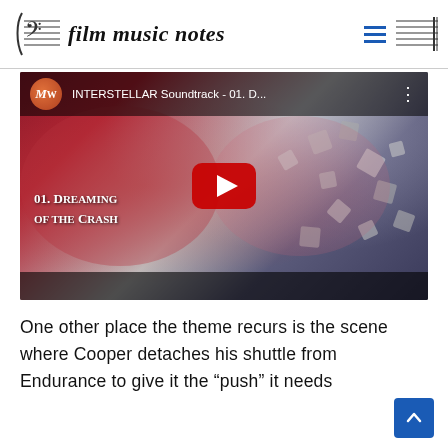film music notes
[Figure (screenshot): YouTube video thumbnail for 'INTERSTELLAR Soundtrack - 01. D...' showing the film scene with rotating spacecraft and text '01. Dreaming of the Crash' with a red play button overlay]
One other place the theme recurs is the scene where Cooper detaches his shuttle from Endurance to give it the “push” it needs